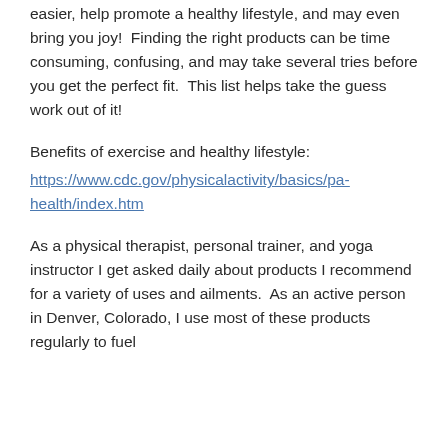easier, help promote a healthy lifestyle, and may even bring you joy!  Finding the right products can be time consuming, confusing, and may take several tries before you get the perfect fit.  This list helps take the guess work out of it!
Benefits of exercise and healthy lifestyle:
https://www.cdc.gov/physicalactivity/basics/pa-health/index.htm
As a physical therapist, personal trainer, and yoga instructor I get asked daily about products I recommend for a variety of uses and ailments.  As an active person in Denver, Colorado, I use most of these products regularly to fuel